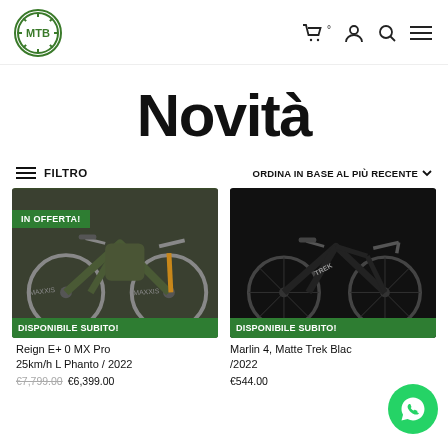MTB logo and navigation icons
Novità
FILTRO | ORDINA IN BASE AL PIÙ RECENTE
[Figure (photo): Green mountain e-bike with IN OFFERTA! and DISPONIBILE SUBITO! badges]
[Figure (photo): Black Trek Marlin 4 bike on dark background with DISPONIBILE SUBITO! badge]
Reign E+ 0 MX Pro 25km/h L Phanto / 2022
€7,799.00  €6,399.00
Marlin 4, Matte Trek Blac /2022
€544.00